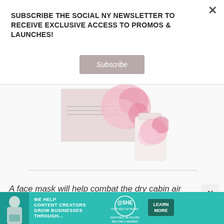SUBSCRIBE THE SOCIAL NY NEWSLETTER TO RECEIVE EXCLUSIVE ACCESS TO PROMOS & LAUNCHES!
Subscribe
[Figure (photo): Product image showing a face mask sheet packet with pink floral design and a bottle/jar with pink flower decoration]
A face mask will help combat the dry cabin air
[Figure (infographic): Advertisement banner: WE HELP CONTENT CREATORS GROW BUSINESSES THROUGH... SHE PARTNER NETWORK BECOME A MEMBER - LEARN MORE]